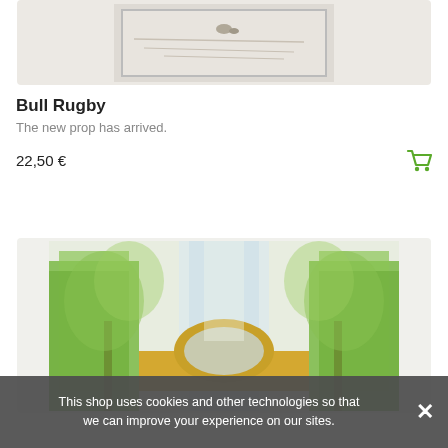[Figure (illustration): Top portion of a product image showing a watercolor or pencil sketch illustration, partially visible, with a light beige/gray background and bordered frame]
Bull Rugby
The new prop has arrived.
22,50 €
[Figure (illustration): Watercolor illustration showing a canal or river scene with a stone arch bridge, tall green trees lining the water, soft natural colors of green and yellow]
This shop uses cookies and other technologies so that we can improve your experience on our sites.